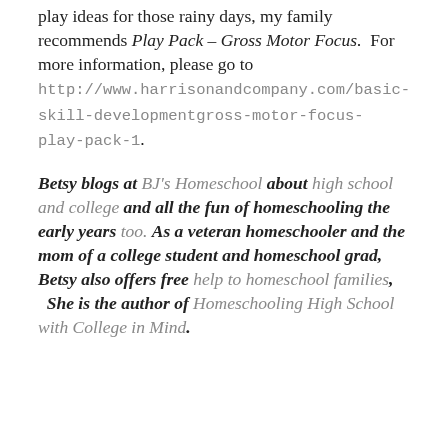play ideas for those rainy days, my family recommends Play Pack – Gross Motor Focus.  For more information, please go to http://www.harrisonandcompany.com/basic-skill-developmentgross-motor-focus-play-pack-1.
Betsy blogs at BJ's Homeschool about high school and college and all the fun of homeschooling the early years too.  As a veteran homeschooler and the mom of a college student and homeschool grad, Betsy also offers free help to homeschool families,  She is the author of Homeschooling High School with College in Mind.